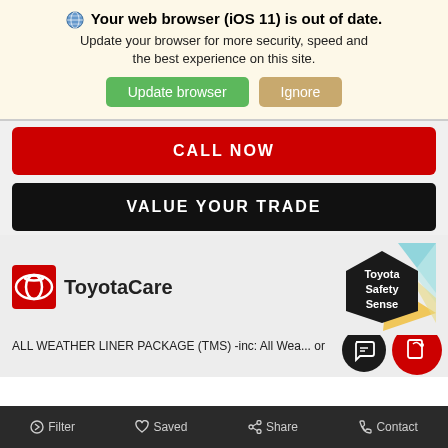Your web browser (iOS 11) is out of date. Update your browser for more security, speed and the best experience on this site.
Update browser
Ignore
CALL NOW
VALUE YOUR TRADE
[Figure (logo): ToyotaCare logo with red Toyota emblem and text ToyotaCare]
[Figure (logo): Toyota Safety Sense badge with hexagon and colorful triangular shapes]
ALL WEATHER LINER PACKAGE (TMS) -inc: All Wea... or
Filter  Saved  Share  Contact